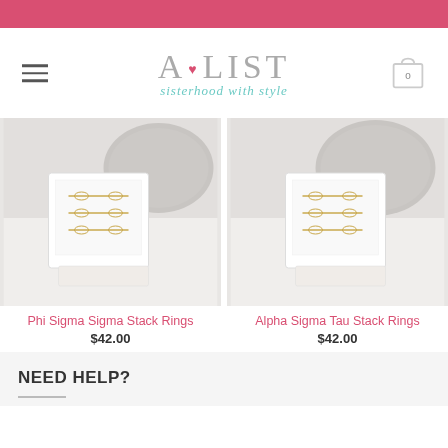A•LIST sisterhood with style
[Figure (photo): Phi Sigma Sigma Stack Rings product photo — gold rings displayed in a white jewellery box]
[Figure (photo): Alpha Sigma Tau Stack Rings product photo — gold rings displayed in a white jewellery box]
Phi Sigma Sigma Stack Rings
$42.00
Alpha Sigma Tau Stack Rings
$42.00
NEED HELP?